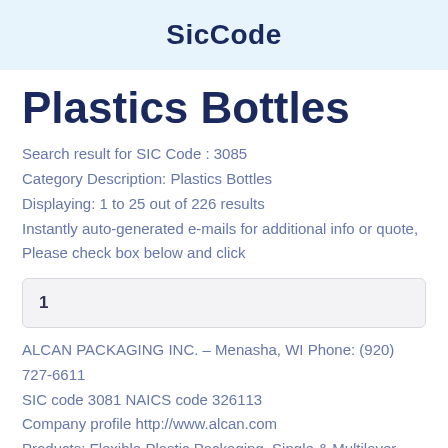SicCode
Plastics Bottles
Search result for SIC Code : 3085
Category Description: Plastics Bottles
Displaying: 1 to 25 out of 226 results
Instantly auto-generated e-mails for additional info or quote, Please check box below and click
1
ALCAN PACKAGING INC. – Menasha, WI Phone: (920) 727-6611
SIC code 3081 NAICS code 326113
Company profile http://www.alcan.com
Products: Flexible Plastic Packaging, Single & Multilayer...